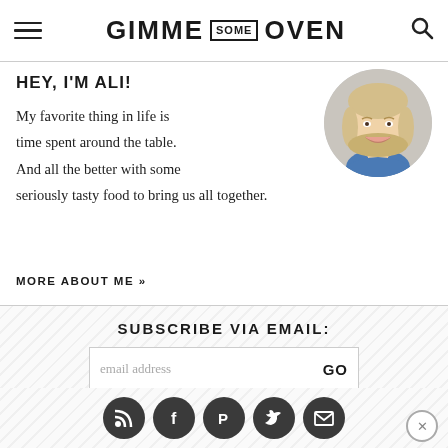GIMME SOME OVEN
HEY, I'M ALI!
[Figure (photo): Circular portrait photo of Ali, a blonde woman smiling, wearing a blue top]
My favorite thing in life is time spent around the table. And all the better with some seriously tasty food to bring us all together.
MORE ABOUT ME »
SUBSCRIBE VIA EMAIL:
email address
GO
[Figure (infographic): Row of 5 circular social media icons: RSS, Facebook, Pinterest, Twitter, Email]